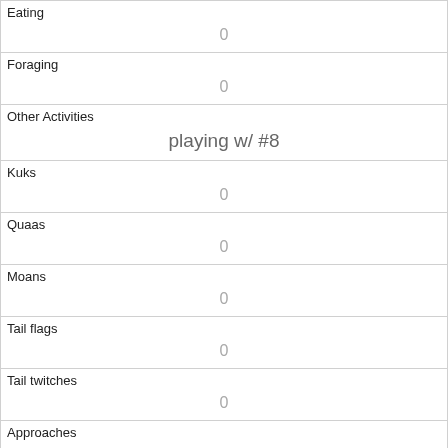| Eating | 0 |
| Foraging | 0 |
| Other Activities | playing w/ #8 |
| Kuks | 0 |
| Quaas | 0 |
| Moans | 0 |
| Tail flags | 0 |
| Tail twitches | 0 |
| Approaches | 0 |
| Indifferent | 1 |
| Runs from |  |